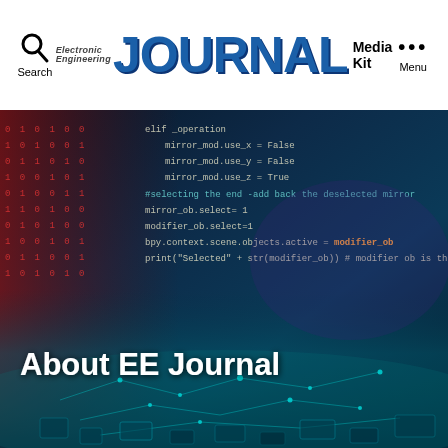Electronic Engineering JOURNAL Media Kit
[Figure (screenshot): Hero banner image showing a dark technology background with binary code on the left side (red digits), overlaid code snippet in the center-right (white/orange monospace text showing Python-like code with mirror_mod operations), and a teal circuit board landscape at the bottom with floating glowing nodes and tiles. Text 'About EE Journal' appears in large white bold text over the lower portion of the image.]